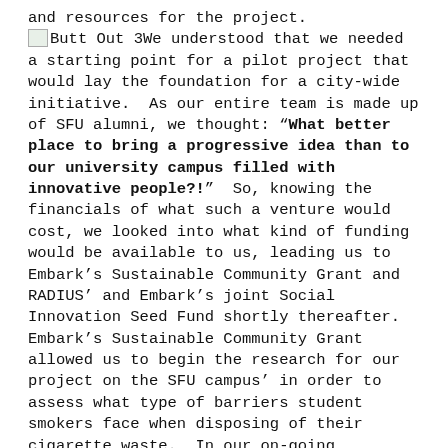and resources for the project. [Butt Out 3 image] We understood that we needed a starting point for a pilot project that would lay the foundation for a city-wide initiative. As our entire team is made up of SFU alumni, we thought: “What better place to bring a progressive idea than to our university campus filled with innovative people?!” So, knowing the financials of what such a venture would cost, we looked into what kind of funding would be available to us, leading us to Embark’s Sustainable Community Grant and RADIUS’ and Embark’s joint Social Innovation Seed Fund shortly thereafter. Embark’s Sustainable Community Grant allowed us to begin the research for our project on the SFU campus’ in order to assess what type of barriers student smokers face when disposing of their cigarette waste. In our on-going canvassing, we are asking participants what they think the university could improve upon to address this issue of litter while also educating them on the fact that cigarette waste can be